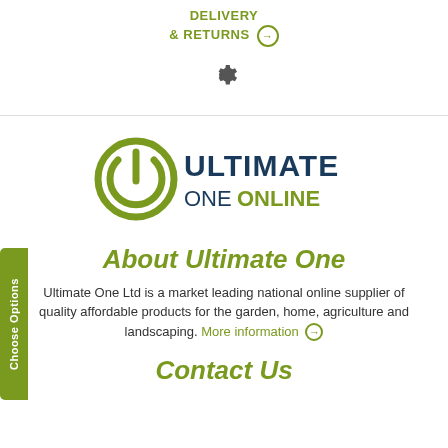DELIVERY & RETURNS →
[Figure (illustration): A dark gray gear/settings icon]
[Figure (logo): Ultimate One Online logo — green circular icon on left, 'ULTIMATE' in dark navy bold uppercase, 'ONE ONLINE' below with 'ONLINE' in green bold]
About Ultimate One
Ultimate One Ltd is a market leading national online supplier of quality affordable products for the garden, home, agriculture and landscaping. More information →
Contact Us